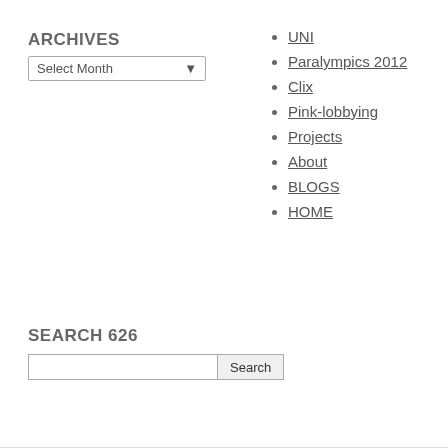ARCHIVES
Select Month
UNI
Paralympics 2012
Clix
Pink-lobbying
Projects
About
BLOGS
HOME
SEARCH 626
Search